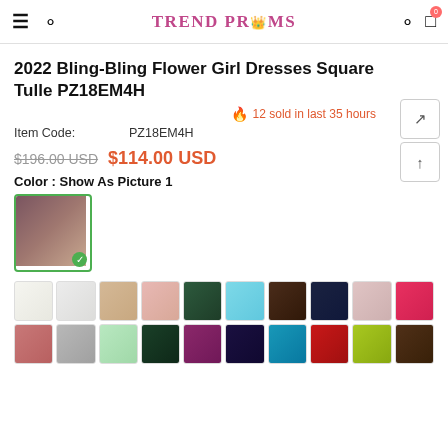TREND PROMS
2022 Bling-Bling Flower Girl Dresses Square Tulle PZ18EM4H
12 sold in last 35 hours
Item Code:   PZ18EM4H
$196.00 USD  $114.00 USD
Color : Show As Picture 1
[Figure (photo): Color swatches grid showing approximately 20 fabric color options for the dress, including white, off-white, nude, blush, dark green, light blue, brown, navy, pink, hot pink, mauve, gray, mint, hunter green, purple, dark purple, teal, red, yellow-green, and dark brown.]